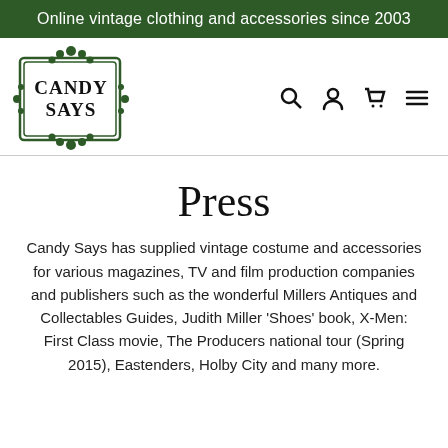Online vintage clothing and accessories since 2003
[Figure (logo): Candy Says vintage logo — ornate green bordered rectangle with decorative flourishes and stylized text reading CANDY SAYS]
Press
Candy Says has supplied vintage costume and accessories for various magazines, TV and film production companies and publishers such as the wonderful Millers Antiques and Collectables Guides, Judith Miller 'Shoes' book, X-Men: First Class movie, The Producers national tour (Spring 2015), Eastenders, Holby City and many more.